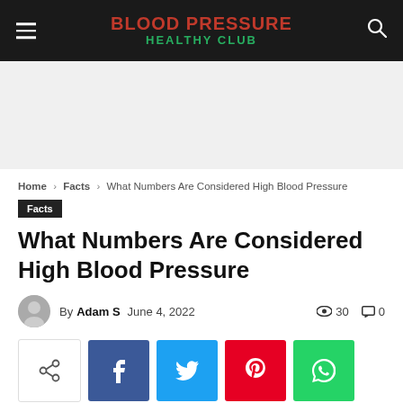BLOOD PRESSURE HEALTHY CLUB
[Figure (other): Advertisement banner placeholder (gray background)]
Home › Facts › What Numbers Are Considered High Blood Pressure
Facts
What Numbers Are Considered High Blood Pressure
By Adam S   June 4, 2022   30 views   0 comments
[Figure (infographic): Social share buttons: share icon, Facebook, Twitter, Pinterest, WhatsApp]